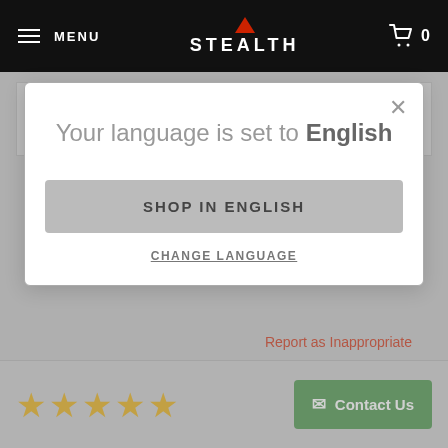MENU | STEALTH | 0
Timothy on Apr 19, 0011
Reviewer didnt leave comments
Your language is set to English
SHOP IN ENGLISH
CHANGE LANGUAGE
Report as Inappropriate
[Figure (other): Five gold star rating and green Contact Us button]